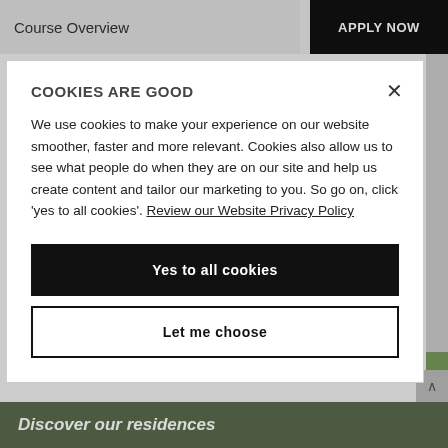Course Overview | APPLY NOW
Student Life / #IAmNorthumbria
COOKIES ARE GOOD
We use cookies to make your experience on our website smoother, faster and more relevant. Cookies also allow us to see what people do when they are on our site and help us create content and tailor our marketing to you. So go on, click 'yes to all cookies'. Review our Website Privacy Policy
Yes to all cookies
Let me choose
Discover our residences